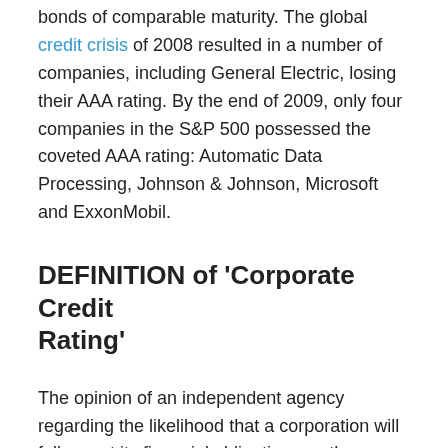bonds of comparable maturity. The global credit crisis of 2008 resulted in a number of companies, including General Electric, losing their AAA rating. By the end of 2009, only four companies in the S&P 500 possessed the coveted AAA rating: Automatic Data Processing, Johnson & Johnson, Microsoft and ExxonMobil.
DEFINITION of 'Corporate Credit Rating'
The opinion of an independent agency regarding the likelihood that a corporation will fully meet its financial obligations as they come due. A company's corporate credit rating indicates its ability to pay its creditors and gives investors an idea of how well or poorly the